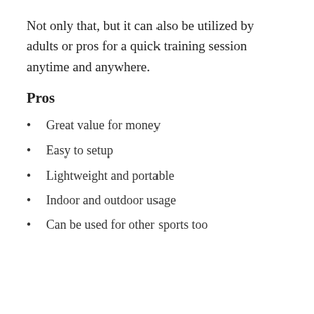Not only that, but it can also be utilized by adults or pros for a quick training session anytime and anywhere.
Pros
Great value for money
Easy to setup
Lightweight and portable
Indoor and outdoor usage
Can be used for other sports too